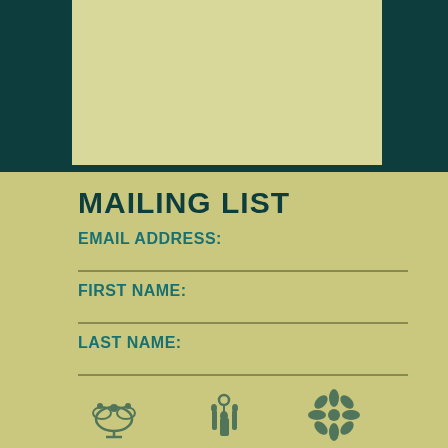[Figure (illustration): Top section with dark teal background on left and right sides and a cream/tan rectangle in the center]
MAILING LIST
EMAIL ADDRESS:
FIRST NAME:
LAST NAME:
SUBSCRIBE
[Figure (illustration): Bottom decorative icons in dark teal color - three ornamental symbols]